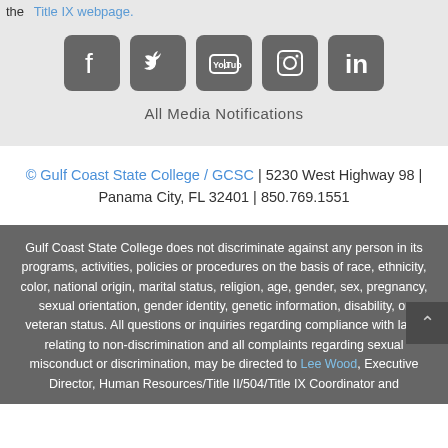the Title IX webpage.
[Figure (other): Row of social media icons: Facebook, Twitter, YouTube, Instagram, LinkedIn]
All Media Notifications
© Gulf Coast State College / GCSC | 5230 West Highway 98 | Panama City, FL 32401 | 850.769.1551
Gulf Coast State College does not discriminate against any person in its programs, activities, policies or procedures on the basis of race, ethnicity, color, national origin, marital status, religion, age, gender, sex, pregnancy, sexual orientation, gender identity, genetic information, disability, or veteran status. All questions or inquiries regarding compliance with laws relating to non-discrimination and all complaints regarding sexual misconduct or discrimination, may be directed to Lee Wood, Executive Director, Human Resources/Title II/504/Title IX Coordinator and